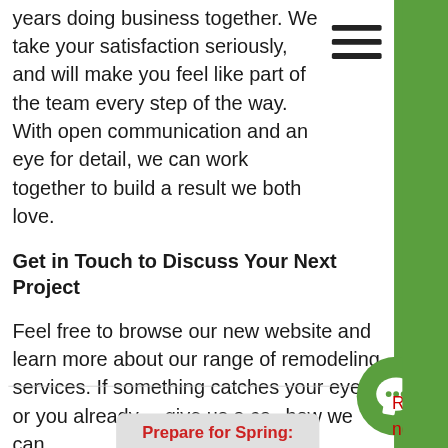years doing business together. We take your satisfaction seriously, and will make you feel like part of the team every step of the way. With open communication and an eye for detail, we can work together to build a result we both love.
Get in Touch to Discuss Your Next Project
Feel free to browse our new website and learn more about our range of remodeling services. If something catches your eye or you already have a project in mind, give us a call or send us a message to discuss how we can
[Figure (screenshot): Chat popup overlay with avatar circle and text: Hi there, have a question? Text us here. With a close button.]
Prepare for Spring:
[Figure (logo): Green circular chat/message icon bottom right corner]
R fo nd do